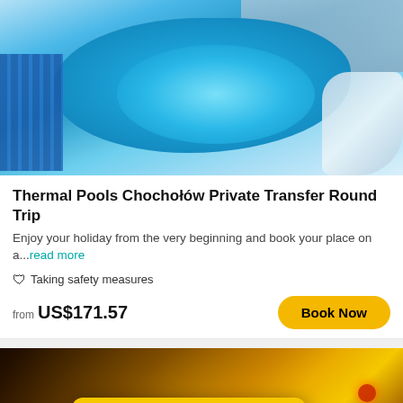[Figure (photo): Aerial view of thermal pool complex with blue lounge chairs on the left, water slides on the right, and aquatic play features in the pool.]
Thermal Pools Chochołów Private Transfer Round Trip
Enjoy your holiday from the very beginning and book your place on a...read more
🛡 Taking safety measures
from US$171.57
[Figure (photo): Close-up photograph of a yellow taxi sign on a taxi car roof at night with bokeh lights in the background.]